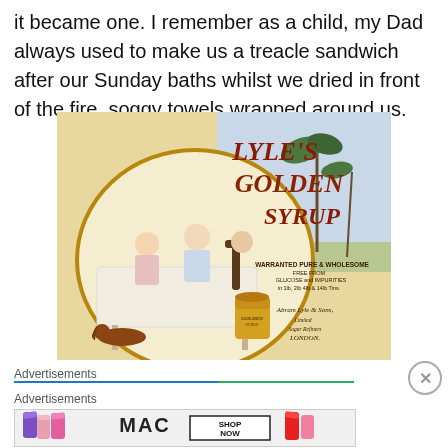it became one. I remember as a child, my Dad always used to make us a treacle sandwich after our Sunday baths whilst we dried in front of the fire, soggy towels wrapped around us.
[Figure (illustration): Vintage Lyle's Golden Syrup advertisement showing children at a tea table with a dog, a tin of syrup, and tropical scenery in the background. Text reads: LYLE'S GOLDEN SYRUP, WARRANTED PURE & WHOLESOME FREE FROM GLUCOSE and IMPURITIES in 1lb, 2lb 4lb & 14lb Tins. Abram Lyle & Sons, Limited, Sugar Refiners LONDON.]
Advertisements
Advertisements
[Figure (illustration): MAC cosmetics advertisement banner showing lipsticks in purple, pink, and red with MAC logo and SHOP NOW button.]